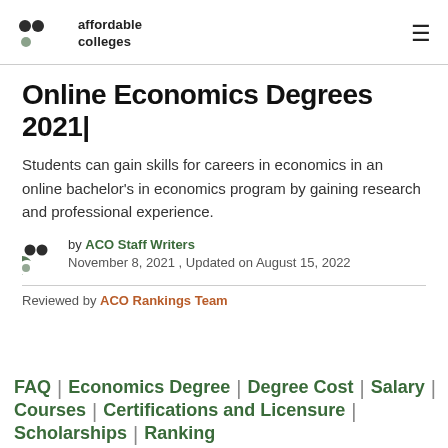affordable colleges
Online Economics Degrees 2021|
Students can gain skills for careers in economics in an online bachelor's in economics program by gaining research and professional experience.
by ACO Staff Writers
November 8, 2021 , Updated on August 15, 2022
Reviewed by ACO Rankings Team
FAQ | Economics Degree | Degree Cost | Salary | Courses | Certifications and Licensure | Scholarships | Ranking